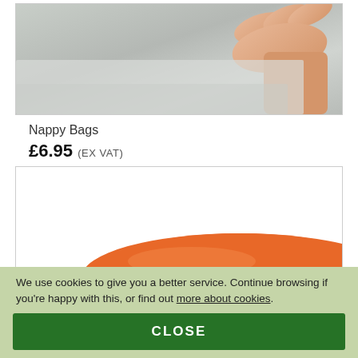[Figure (photo): Close-up of a hand touching or peeling a translucent plastic/fabric material on a light surface — product image for Nappy Bags]
Nappy Bags
£6.95 (Ex VAT)
[Figure (photo): Close-up of an orange rounded object (product) on a white background — partial product image]
We use cookies to give you a better service. Continue browsing if you're happy with this, or find out more about cookies.
CLOSE